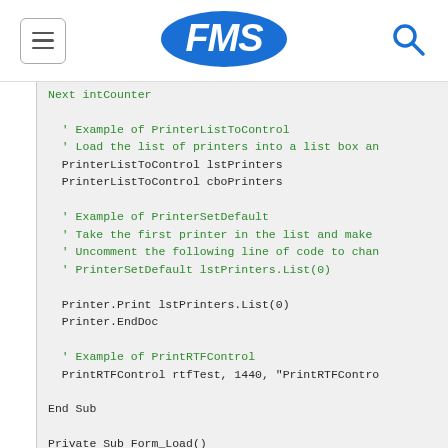FMS [logo with hamburger menu and search icon]
Next intCounter

' Example of PrinterListToControl
' Load the list of printers into a list box an
PrinterListToControl lstPrinters
PrinterListToControl cboPrinters

' Example of PrinterSetDefault
' Take the first printer in the list and make
' Uncomment the following line of code to chan
' PrinterSetDefault lstPrinters.List(0)

Printer.Print lstPrinters.List(0)
Printer.EndDoc

' Example of PrintRTFControl
PrintRTFControl rtfTest, 1440, "PrintRTFContro

End Sub

Private Sub Form_Load()
    Dim strCopy As String